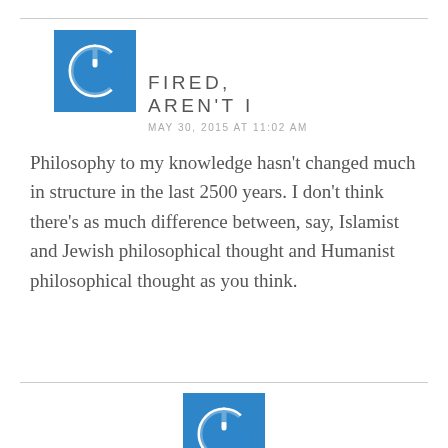[Figure (logo): Blue square with white power button icon - user avatar]
FIRED, AREN'T I
MAY 30, 2015 AT 11:02 AM
Philosophy to my knowledge hasn't changed much in structure in the last 2500 years. I don't think there's as much difference between, say, Islamist and Jewish philosophical thought and Humanist philosophical thought as you think.
[Figure (logo): Blue square with white power button icon - user avatar (partially visible at bottom)]